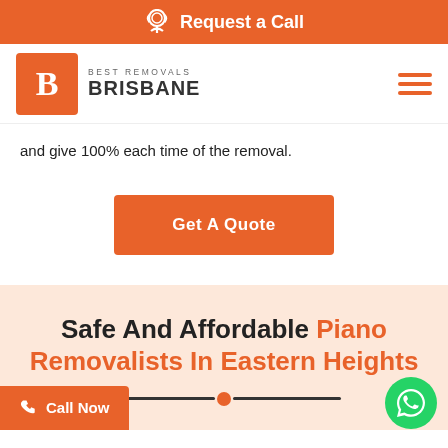Request a Call
[Figure (logo): Best Removals Brisbane logo with orange B box and text]
and give 100% each time of the removal.
Get A Quote
Safe And Affordable Piano Removalists In Eastern Heights
Call Now